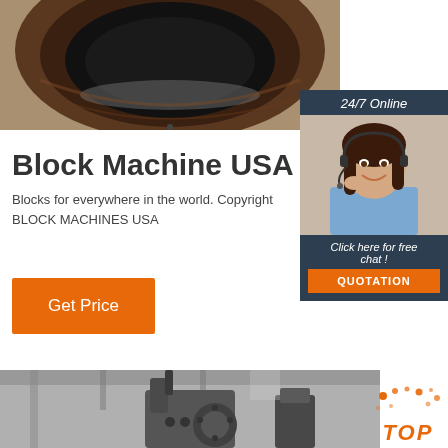[Figure (photo): Close-up top-down view of industrial block machine mold/die opening, rusty/worn circular metal component with dark interior]
[Figure (photo): 24/7 Online customer service widget with photo of smiling brunette woman wearing headset, dark blue background, 'Click here for free chat!' text and orange QUOTATION button]
Block Machine USA
Blocks for everywhere in the world. Copyright BLOCK MACHINES USA
Get Price
[Figure (photo): Industrial block machine equipment in factory/warehouse setting, dark metal machinery with piping and mechanical components, grayscale]
TOP